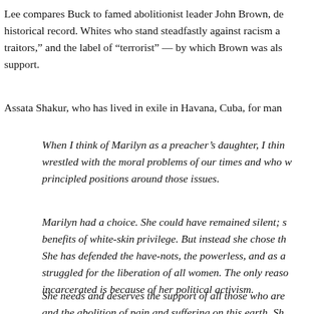Lee compares Buck to famed abolitionist leader John Brown, de historical record. Whites who stand steadfastly against racism a traitors," and the label of "terrorist" — by which Brown was als support.
Assata Shakur, who has lived in exile in Havana, Cuba, for man
When I think of Marilyn as a preacher's daughter, I thin wrestled with the moral problems of our times and who w principled positions around those issues.
Marilyn had a choice. She could have remained silent; s benefits of white-skin privilege. But instead she chose th She has defended the have-nots, the powerless, and as a struggled for the liberation of all women. The only reaso incarcerated is because of her political activism.
She needs and deserves the support of all those who are and the abolition of pain and suffering on this earth. Sh